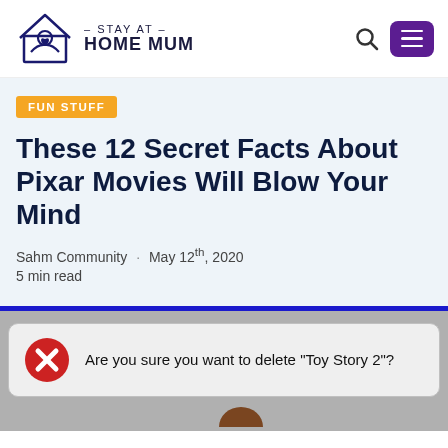STAY AT HOME MUM
FUN STUFF
These 12 Secret Facts About Pixar Movies Will Blow Your Mind
Sahm Community · May 12th, 2020
5 min read
[Figure (screenshot): Dialog box on grey background showing a red X icon and text: Are you sure you want to delete "Toy Story 2"?]